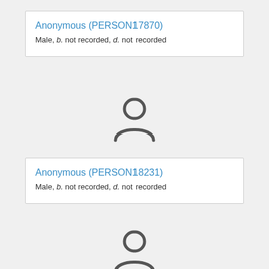Anonymous (PERSON17870)
Male, b. not recorded, d. not recorded
[Figure (illustration): Generic person/user silhouette icon in dark gray]
Anonymous (PERSON18231)
Male, b. not recorded, d. not recorded
[Figure (illustration): Generic person/user silhouette icon in dark gray (partially visible)]